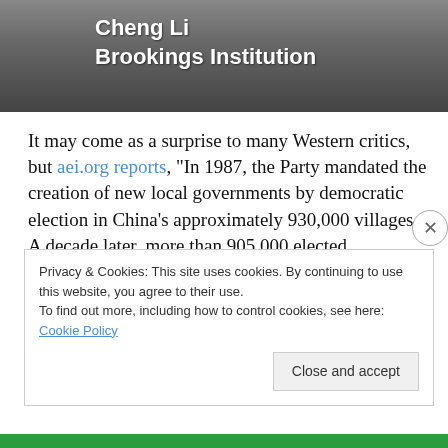[Figure (photo): Screenshot banner showing a person photo with text overlay 'Cheng Li Brookings Institution']
It may come as a surprise to many Western critics, but aei.org reports, "In 1987, the Party mandated the creation of new local governments by democratic election in China's approximately 930,000 villages. A decade later, more than 905,000 elected committees and 3.7 million elected officials were reportedly in place." To discover more about this experiment with democracy that's been going on for 29 years inside of Communist China, click the
Privacy & Cookies: This site uses cookies. By continuing to use this website, you agree to their use.
To find out more, including how to control cookies, see here: Cookie Policy
Close and accept